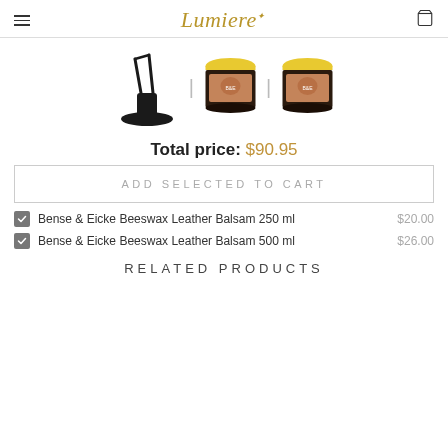Lumiere
[Figure (photo): Product images row: a shoe shining stand on left, two Bense & Eicke leather balsam cans (250ml and 500ml) in center and right]
Total price: $90.95
ADD SELECTED TO CART
Bense & Eicke Beeswax Leather Balsam 250 ml  $20.00
Bense & Eicke Beeswax Leather Balsam 500 ml  $26.00
RELATED PRODUCTS